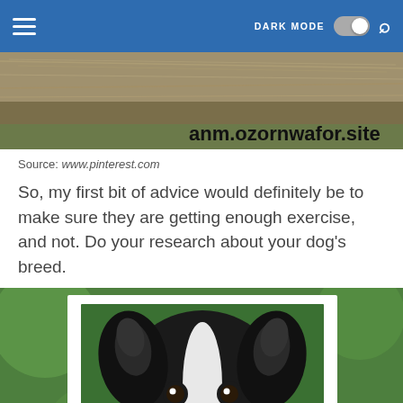DARK MODE [toggle] [search]
[Figure (photo): Close-up photo of dry hay/grass field with watermark text 'anm.ozornwafor.site' in bottom right corner]
Source: www.pinterest.com
So, my first bit of advice would definitely be to make sure they are getting enough exercise, and not. Do your research about your dog's breed.
[Figure (photo): Black and white border collie puppy looking at camera, set against a green grass background, displayed within a white-bordered frame]